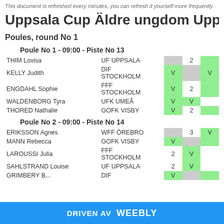This document is refreshed every minutes, you can refresh it yourself more frequently
Uppsala Cup Äldre ungdom Uppsala
Poules, round No 1
Poule No 1 - 09:00 - Piste No 13
| Player | Club | Col1 | Col2 | Col3 |
| --- | --- | --- | --- | --- |
| THIM Lovisa | UF UPPSALA |  | 2 |  |
| KELLY Judith | DIF STOCKHOLM | V |  | V |
| ENGDAHL Sophie | FFF STOCKHOLM | V | 2 |  |
| WALDENBORG Tyra | UFK UMEÅ | V | V |  |
| THORED Nathalie | GOFK VISBY | V | 2 |  |
Poule No 2 - 09:00 - Piste No 14
| Player | Club | Col1 | Col2 | Col3 |
| --- | --- | --- | --- | --- |
| ERIKSSON Agnes | WFF ÖREBRO |  | 3 | V |
| MANN Rebecca | GOFK VISBY | V |  |  |
| LAROUSSI Julia | FFF STOCKHOLM | 2 | V |  |
| SAHLSTRAND Louise | UF UPPSALA | 2 | V |  |
| GRIMBERY B... | DIF | V |  |  |
DRIVEN AV weebly